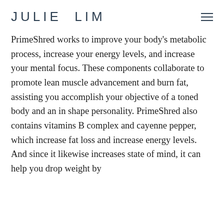JULIE LIM
PrimeShred works to improve your body's metabolic process, increase your energy levels, and increase your mental focus. These components collaborate to promote lean muscle advancement and burn fat, assisting you accomplish your objective of a toned body and an in shape personality. PrimeShred also contains vitamins B complex and cayenne pepper, which increase fat loss and increase energy levels. And since it likewise increases state of mind, it can help you drop weight by